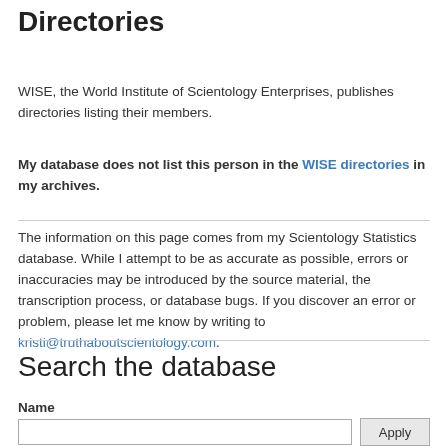Directories
WISE, the World Institute of Scientology Enterprises, publishes directories listing their members.
My database does not list this person in the WISE directories in my archives.
The information on this page comes from my Scientology Statistics database. While I attempt to be as accurate as possible, errors or inaccuracies may be introduced by the source material, the transcription process, or database bugs. If you discover an error or problem, please let me know by writing to kristi@truthaboutscientology.com.
Search the database
Name